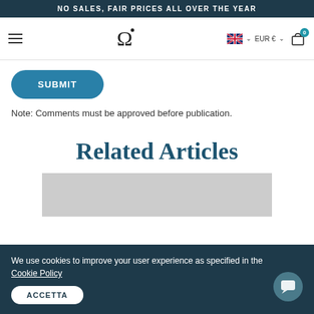NO SALES, FAIR PRICES ALL OVER THE YEAR
[Figure (screenshot): Navigation bar with hamburger menu, Omega logo, UK flag with EUR currency selector, and shopping cart icon with badge 0]
SUBMIT
Note: Comments must be approved before publication.
Related Articles
[Figure (photo): Gray placeholder image for a related article]
We use cookies to improve your user experience as specified in the Cookie Policy
ACCETTA